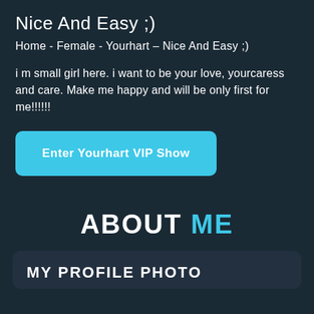Nice And Easy ;)
Home - Female - Yourhart – Nice And Easy ;)
i m small girl here. i want to be your love, yourcaress and care. Make me happy and will be only first for me!!!!!!
Enter Yourhart VIP Show
ABOUT ME
MY PROFILE PHOTO